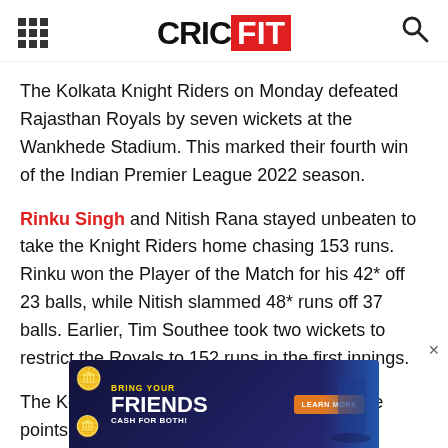CRICFIT
The Kolkata Knight Riders on Monday defeated Rajasthan Royals by seven wickets at the Wankhede Stadium. This marked their fourth win of the Indian Premier League 2022 season.
Rinku Singh and Nitish Rana stayed unbeaten to take the Knight Riders home chasing 153 runs. Rinku won the Player of the Match for his 42* off 23 balls, while Nitish slammed 48* runs off 37 balls. Earlier, Tim Southee took two wickets to restrict the Royals to 152 runs in the first innings.
The Kolkata Knight Riders are seventh on the points table
[Figure (photo): Advertisement banner reading BRING YOUR FRIENDS CASH FOR BOTH with a cricket player and a Learn More button on an orange button, dark blue background with gold coins.]